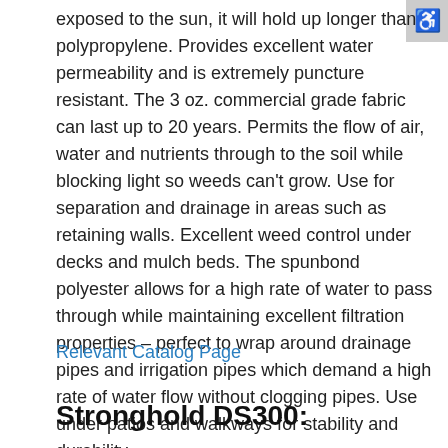exposed to the sun, it will hold up longer than polypropylene. Provides excellent water permeability and is extremely puncture resistant. The 3 oz. commercial grade fabric can last up to 20 years. Permits the flow of air, water and nutrients through to the soil while blocking light so weeds can't grow. Use for separation and drainage in areas such as retaining walls. Excellent weed control under decks and mulch beds. The spunbond polyester allows for a high rate of water to pass through while maintaining excellent filtration properties – perfect to wrap around drainage pipes and irrigation pipes which demand a high rate of water flow without clogging pipes. Use under patios and walkways for stability and durability.
Relevant Catalog Page
Stronghold DS300: